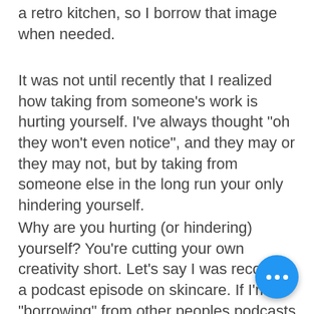a retro kitchen, so I borrow that image when needed.
It was not until recently that I realized how taking from someone's work is hurting yourself. I've always thought "oh they won't even notice", and they may or they may not, but by taking from someone else in the long run your only hindering yourself.
Why are you hurting (or hindering) yourself? You're cutting your own creativity short. Let's say I was recording a podcast episode on skincare. If I'm "borrowing" from other peoples podcasts on skincare, using their thoughts not mine, their opinions are what I'm projecting and those